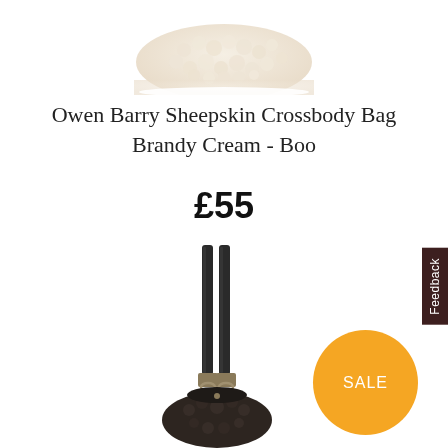[Figure (photo): Top portion of a cream/beige sheepskin crossbody bag with fluffy texture, viewed from above]
Owen Barry Sheepskin Crossbody Bag Brandy Cream - Boo
£55
[Figure (photo): Dark sheepskin bucket-style crossbody bag with long black leather straps with clasp hardware, lower portion visible, with an orange SALE badge and dark brown Feedback tab on the right side]